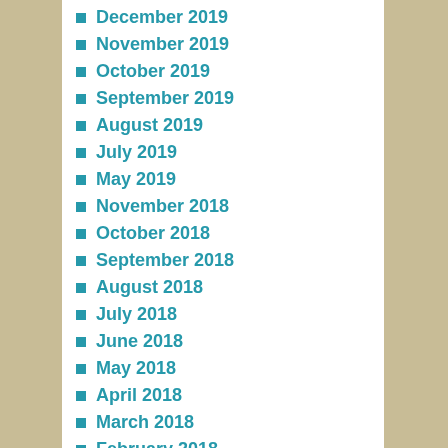December 2019
November 2019
October 2019
September 2019
August 2019
July 2019
May 2019
November 2018
October 2018
September 2018
August 2018
July 2018
June 2018
May 2018
April 2018
March 2018
February 2018
January 2018
December 2017
November 2017
October 2017
September 2017